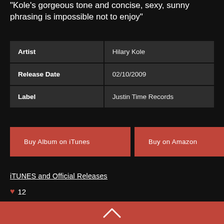“Kole’s gorgeous tone and concise, sexy, sunny phrasing is impossible not to enjoy”
|  |  |
| --- | --- |
| Artist | Hilary Kole |
| Release Date | 02/10/2009 |
| Label | Justin Time Records |
Buy Album on iTunes
Buy on Amazon
iTUNES and Official Releases
♥ 12